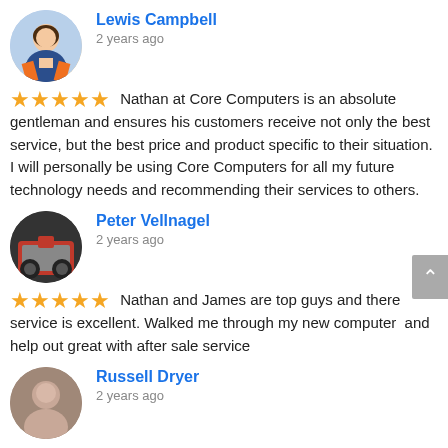Lewis Campbell
2 years ago
Nathan at Core Computers is an absolute gentleman and ensures his customers receive not only the best service, but the best price and product specific to their situation. I will personally be using Core Computers for all my future technology needs and recommending their services to others.
Peter Vellnagel
2 years ago
Nathan and James are top guys and there service is excellent. Walked me through my new computer  and help out great with after sale service
Russell Dryer
2 years ago
Had some major business interruption thanks to NBN outages. Nathan dropped everything to come to our premises in